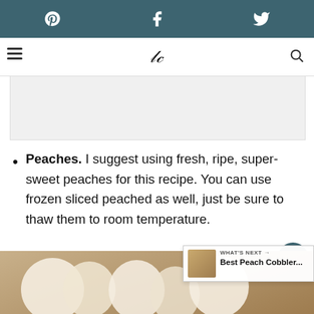Social share bar with Pinterest, Facebook, Twitter icons
[Figure (screenshot): Website header with hamburger menu, cursive logo text, and search icon]
[Figure (other): Advertisement or image placeholder area]
Peaches. I suggest using fresh, ripe, super-sweet peaches for this recipe. You can use frozen sliced peached as well, just be sure to thaw them to room temperature.
[Figure (photo): Photo of peach cobbler or peach dessert with cream swirls at bottom of page]
WHAT'S NEXT → Best Peach Cobbler...